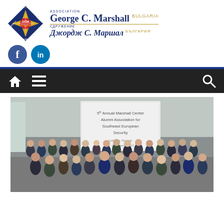[Figure (logo): George C. Marshall Association Bulgaria logo with diamond shape containing a gold star, text GCM Bulgaria, and surrounding labels: George C. Marshall, Bulgaria, Cooperation, Resources]
ASSOCIATION GEORGE C. MARSHALL BULGARIA / СДРУЖЕНИЕ ДЖОРДЖ С. МАРШАЛ БЪЛГАРИЯ
[Figure (logo): Facebook and LinkedIn social media icons (blue circles with f and in)]
[Figure (screenshot): Website navigation bar with dark/black background containing home icon, menu (hamburger) icon, and search icon]
[Figure (photo): Group photo of approximately 30 people at the 5th Annual Marshall Center Alumni Association for Southeast European Security conference, Ljubljana, Slovenia, 28-29 September 2017, standing in front of a presentation screen]